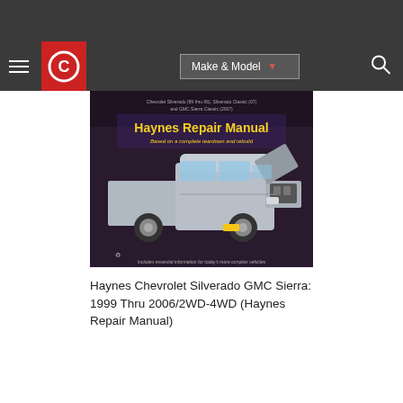[Figure (screenshot): Website navigation bar with hamburger menu, red circular logo with C, Make & Model dropdown button, and search icon on dark background]
[Figure (photo): Haynes Repair Manual book cover showing a Chevrolet Silverado / GMC Sierra truck with hood open, dark purple/maroon background, yellow title text 'Haynes Repair Manual', subtitle 'Based on a complete teardown and rebuild']
Haynes Chevrolet Silverado GMC Sierra: 1999 Thru 2006/2WD-4WD (Haynes Repair Manual)